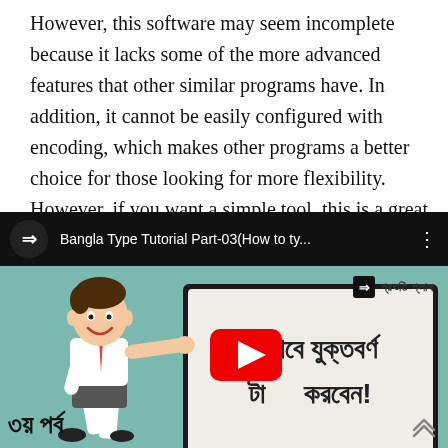However, this software may seem incomplete because it lacks some of the more advanced features that other similar programs have. In addition, it cannot be easily configured with encoding, which makes other programs a better choice for those looking for more flexibility. However, if you want a simple tool, this is a great starting point.
[Figure (screenshot): YouTube video thumbnail for 'Bangla Type Tutorial Part-03(How to ty...' showing a cartoon man pointing at a monitor screen with Bangla text, with a YouTube play button overlay. Channel icon and title in top bar. Bangla text bottom left '৩য় পর্ব'. Watermark top-right with channel branding.]